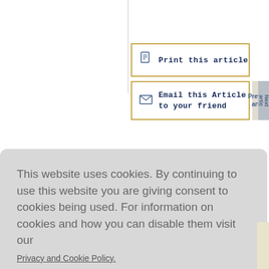[Figure (screenshot): Print this article button with gold border, document icon, and bold dark blue text in courier font]
[Figure (screenshot): Email this Article to your friend button with gold border, envelope icon, and bold dark blue text]
[Figure (screenshot): Previous article and Next article navigation buttons, partially visible]
This website uses cookies. By continuing to use this website you are giving consent to cookies being used. For information on cookies and how you can disable them visit our
Privacy and Cookie Policy.
AGREE & PROCEED